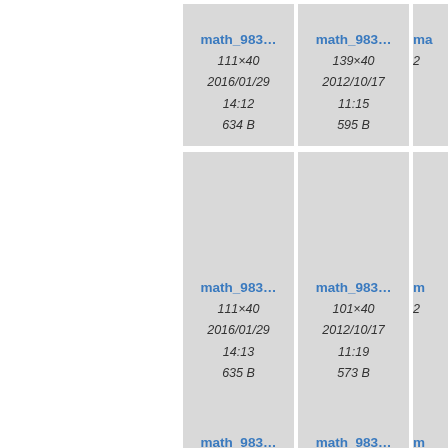[Figure (screenshot): File browser grid view showing math image thumbnails. Row 1: card 1 - math_983..., 111x40, 2016/01/29 14:12, 634 B; card 2 - math_983..., 139x40, 2012/10/17 11:15, 595 B; card 3 partial. Row 2: card 1 - math_983..., 111x40, 2016/01/29 14:13, 635 B; card 2 - math_983..., 101x40, 2012/10/17 11:19, 573 B; card 3 partial. Row 3: card 1 partial - math_983...; card 2 partial - math_983...; card 3 partial.]